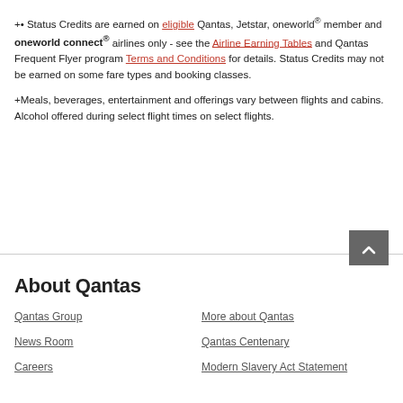+• Status Credits are earned on eligible Qantas, Jetstar, oneworld® member and oneworld connect® airlines only - see the Airline Earning Tables and Qantas Frequent Flyer program Terms and Conditions for details. Status Credits may not be earned on some fare types and booking classes.
+Meals, beverages, entertainment and offerings vary between flights and cabins. Alcohol offered during select flight times on select flights.
About Qantas
Qantas Group
More about Qantas
News Room
Qantas Centenary
Careers
Modern Slavery Act Statement